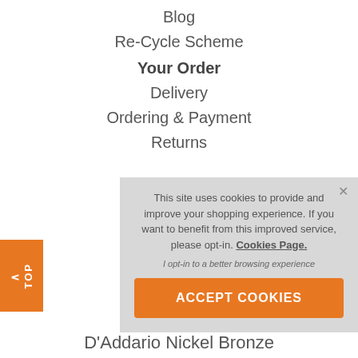Blog
Re-Cycle Scheme
Your Order
Delivery
Ordering & Payment
Returns
This site uses cookies to provide and improve your shopping experience. If you want to benefit from this improved service, please opt-in. Cookies Page.
I opt-in to a better browsing experience
ACCEPT COOKIES
TOP
D'Addario Nickel Bronze